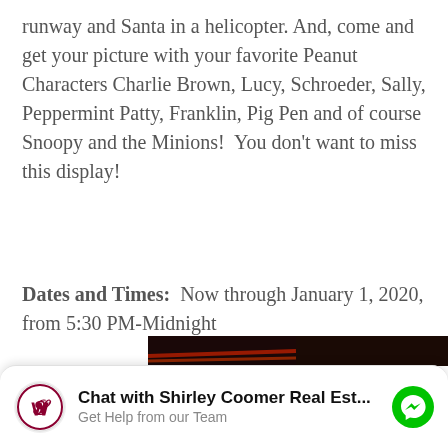runway and Santa in a helicopter. And, come and get your picture with your favorite Peanut Characters Charlie Brown, Lucy, Schroeder, Sally, Peppermint Patty, Franklin, Pig Pen and of course Snoopy and the Minions!  You don't want to miss this display!
Dates and Times:  Now through January 1, 2020, from 5:30 PM-Midnight
Drive-by nd
[Figure (photo): Night photo of illuminated cacti decorated with string lights against a deep blue sky, with a palm tree silhouette in the background.]
Chat with Shirley Coomer Real Est... Get Help from our Team